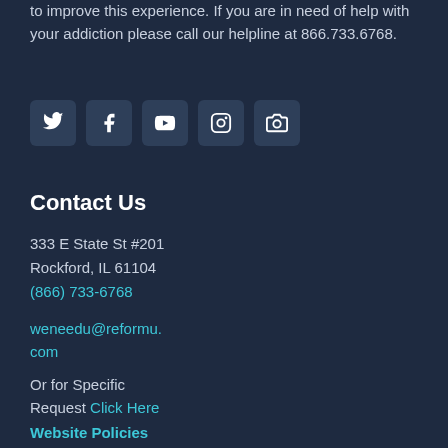to improve this experience. If you are in need of help with your addiction please call our helpline at 866.733.6768.
[Figure (illustration): Row of five social media icon buttons (Twitter, Facebook, YouTube, Instagram, Camera/Flickr) on dark navy rounded square backgrounds]
Contact Us
333 E State St #201
Rockford, IL 61104
(866) 733-6768
weneedu@reformu.com
Or for Specific Request Click Here
Website Policies